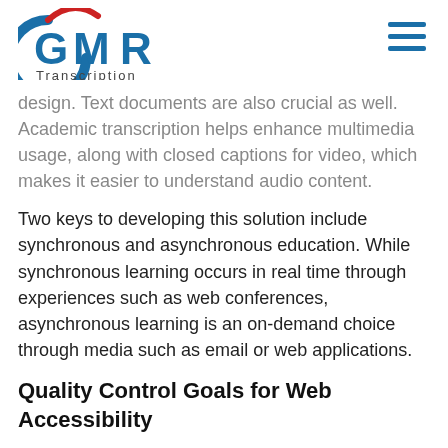GMR Transcription
design. Text documents are also crucial as well. Academic transcription helps enhance multimedia usage, along with closed captions for video, which makes it easier to understand audio content.
Two keys to developing this solution include synchronous and asynchronous education. While synchronous learning occurs in real time through experiences such as web conferences, asynchronous learning is an on-demand choice through media such as email or web applications.
Quality Control Goals for Web Accessibility
An innovative approach to web accessibility is